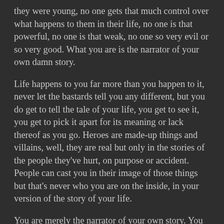they were young, no one gets that much control over what happens to them in their life, no one is that powerful, no one is that weak, no one so very evil or so very good. What you are is the narrator of your own damn story.
Life happens to you far more than you happen to it, never let the bastards tell you any different, but you do get to tell the tale of your life, you get to see it, you get to pick it apart for its meaning or lack thereof as you go. Heroes are made-up things and villains, well, they are real but only in the stories of the people they've hurt, on purpose or accident. People can cast you in their image of those things but that's never who you are on the inside, in your version of the story of your life.
You are merely the narrator of your own story. You have the awesome power and responsibility of narrating your own story. You have the curse and the shitty job of narrating your own story. You don't get